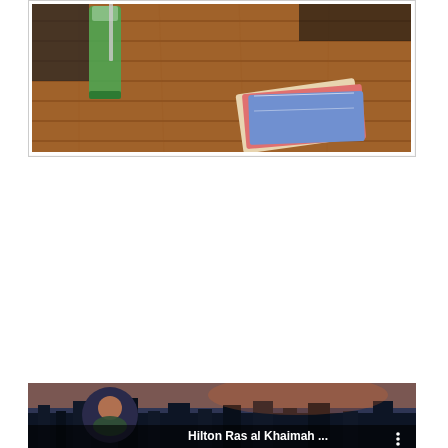[Figure (photo): Photo of a wooden deck table with books and a green drink in a glass, bordered with a white frame and thin grey border]
[Figure (screenshot): Screenshot of a YouTube video thumbnail showing 'Hilton Ras al Khaimah ...' with a profile picture of a person on the left and a cityscape/hotel at dusk in the background, with a three-dot menu icon on the right]